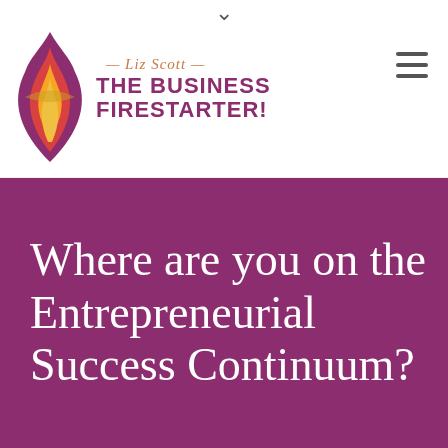[Figure (logo): Liz Scott The Business Firestarter logo with flame graphic and text]
Where are you on the Entrepreneurial Success Continuum?